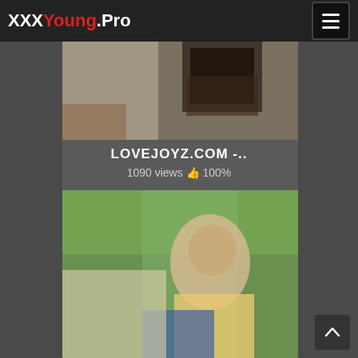XXXYoung.Pro
[Figure (screenshot): Video thumbnail showing an indoor scene with a person and exercise equipment in the background]
LOVEJOYZ.COM -..
1090 views 👍 100%
[Figure (screenshot): Video thumbnail showing a man in a yellow tank top outdoors with green foliage in the background]